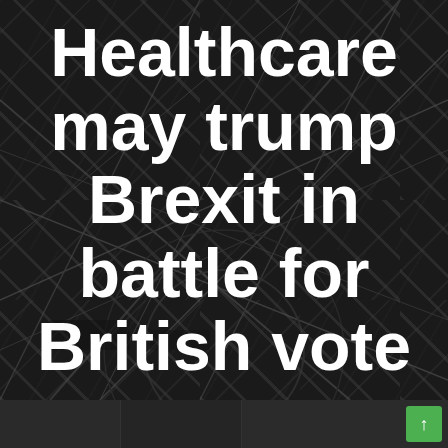[Figure (photo): Dark overhead image of what appears to be a large indoor venue or road network, used as a background behind a news headline.]
Healthcare may trump Brexit in battle for British vote